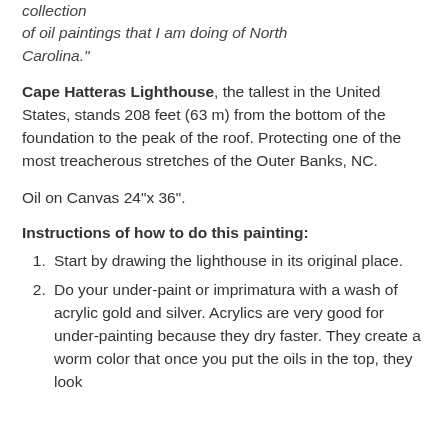collection of oil paintings that I am doing of North Carolina."
Cape Hatteras Lighthouse, the tallest in the United States, stands 208 feet (63 m) from the bottom of the foundation to the peak of the roof. Protecting one of the most treacherous stretches of the Outer Banks, NC.
Oil on Canvas 24"x 36".
Instructions of how to do this painting:
Start by drawing the lighthouse in its original place.
Do your under-paint or imprimatura with a wash of acrylic gold and silver. Acrylics are very good for under-painting because they dry faster. They create a worm color that once you put the oils in the top, they look